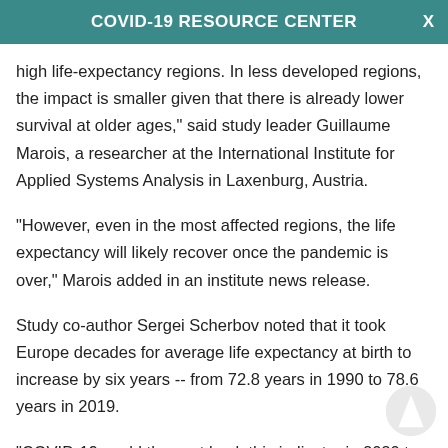COVID-19 RESOURCE CENTER
high life-expectancy regions. In less developed regions, the impact is smaller given that there is already lower survival at older ages," said study leader Guillaume Marois, a researcher at the International Institute for Applied Systems Analysis in Laxenburg, Austria.
"However, even in the most affected regions, the life expectancy will likely recover once the pandemic is over," Marois added in an institute news release.
Study co-author Sergei Scherbov noted that it took Europe decades for average life expectancy at birth to increase by six years -- from 72.8 years in 1990 to 78.6 years in 2019.
"COVID-19 could thus set back this indicator in 2020 to